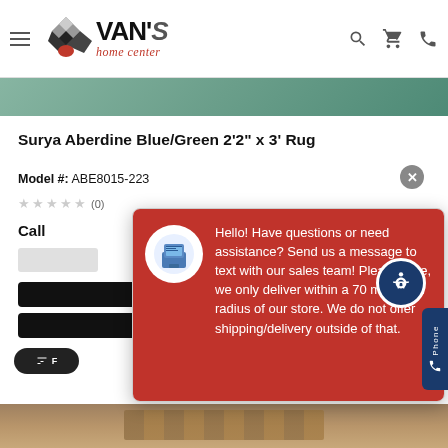Van's Home Center
[Figure (screenshot): Product image strip showing rug pattern]
Surya Aberdine Blue/Green 2'2" x 3' Rug
Model #: ABE8015-223
★★★★★ (0)
Call for Price
[Figure (screenshot): Chat popup overlay with red background showing message: Hello! Have questions or need assistance? Send us a message to text with our sales team! Please note, we only deliver within a 70 mile local radius of our store. We do not offer shipping/delivery outside of that.]
Write your message...